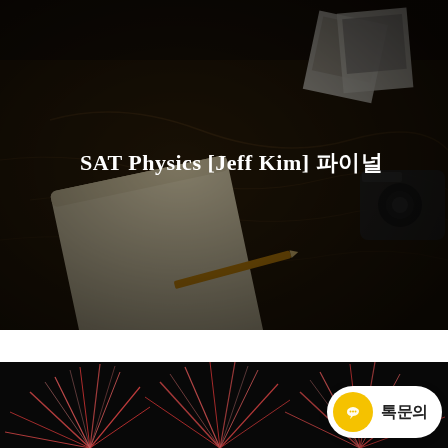[Figure (photo): Dark overhead photo of a notebook, pencil, old map, polaroid photos, and a camera on a wooden table with dark overlay]
SAT Physics [Jeff Kim] 파이널
[Figure (photo): Dark fireworks photo on black background — bottom portion visible]